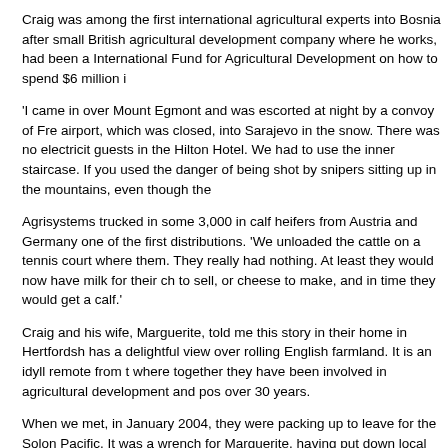Craig was among the first international agricultural experts into Bosnia after small British agricultural development company where he works, had been a International Fund for Agricultural Development on how to spend $6 million i
'I came in over Mount Egmont and was escorted at night by a convoy of Fre airport, which was closed, into Sarajevo in the snow. There was no electricit guests in the Hilton Hotel. We had to use the inner staircase. If you used the danger of being shot by snipers sitting up in the mountains, even though the
Agrisystems trucked in some 3,000 in calf heifers from Austria and Germany one of the first distributions. 'We unloaded the cattle on a tennis court where them. They really had nothing. At least they would now have milk for their ch to sell, or cheese to make, and in time they would get a calf.'
Craig and his wife, Marguerite, told me this story in their home in Hertfordsh has a delightful view over rolling English farmland. It is an idyll remote from t where together they have been involved in agricultural development and pos over 30 years.
When we met, in January 2004, they were packing up to leave for the Solon Pacific. It was a wrench for Marguerite, having put down local roots after yea leave this time,' she said. 'Before, when we went to Zambia , Nigeria and Pa children were with us and our parents were younger.'
In 2003 the European Union awarded Agrisystems a three-year contract in t massive 80 million euro aid package. The islands have been plagued by eth breakdown in law and order, following a coup in 2000 which forced the gove and New Zealand to restore law and order and recapture control of the gove
The obligations...